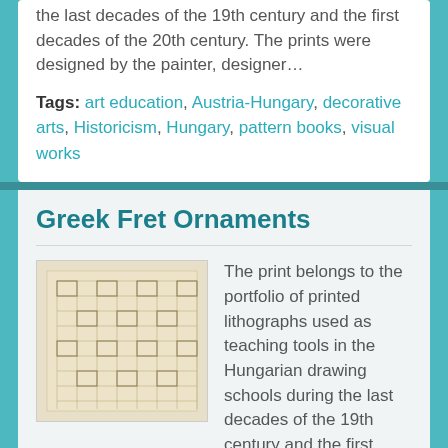the last decades of the 19th century and the first decades of the 20th century. The prints were designed by the painter, designer…
Tags: art education, Austria-Hungary, decorative arts, Historicism, Hungary, pattern books, visual works
Greek Fret Ornaments
[Figure (illustration): Thumbnail image of a lithograph print showing Greek fret ornament patterns on aged paper]
The print belongs to the portfolio of printed lithographs used as teaching tools in the Hungarian drawing schools during the last decades of the 19th century and the first decades of the 20th century. The prints were designed by the painter, designer…
Tags: art education, Austria-Hungary, decorative arts, Historicism, Hungary, pattern books, visual works